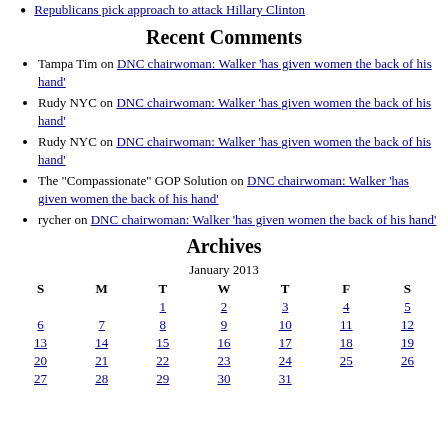Republicans pick approach to attack Hillary Clinton
Recent Comments
Tampa Tim on DNC chairwoman: Walker 'has given women the back of his hand'
Rudy NYC on DNC chairwoman: Walker 'has given women the back of his hand'
Rudy NYC on DNC chairwoman: Walker 'has given women the back of his hand'
The "Compassionate" GOP Solution on DNC chairwoman: Walker 'has given women the back of his hand'
rycher on DNC chairwoman: Walker 'has given women the back of his hand'
Archives
| S | M | T | W | T | F | S |
| --- | --- | --- | --- | --- | --- | --- |
|  |  | 1 | 2 | 3 | 4 | 5 |
| 6 | 7 | 8 | 9 | 10 | 11 | 12 |
| 13 | 14 | 15 | 16 | 17 | 18 | 19 |
| 20 | 21 | 22 | 23 | 24 | 25 | 26 |
| 27 | 28 | 29 | 30 | 31 |  |  |